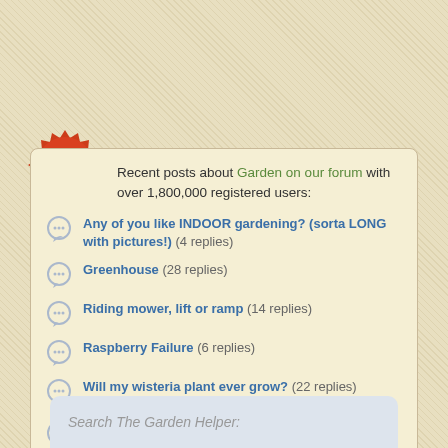[Figure (logo): Red circular forum badge with white text FORUM and serrated edge]
Recent posts about Garden on our forum with over 1,800,000 registered users:
Any of you like INDOOR gardening? (sorta LONG with pictures!)  (4 replies)
Greenhouse  (28 replies)
Riding mower, lift or ramp  (14 replies)
Raspberry Failure  (6 replies)
Will my wisteria plant ever grow?  (22 replies)
Is it safe to store seed (to sow later) w/ food grade Diatomaceous earth (to keep insects from ruining it) . . . ?  (2 replies)
Search The Garden Helper: